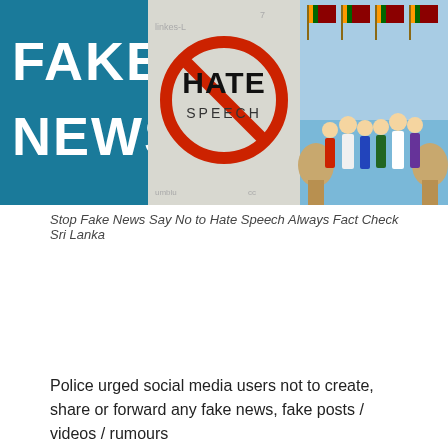[Figure (photo): Composite image with three panels: left panel shows 'FAKE NEWS' text in white on teal background; middle panel shows a 'HATE SPEECH' text with a red prohibition circle over it on a light background with text; right panel shows people in traditional Sri Lankan clothing with Sri Lankan flags in the background.]
Stop Fake News Say No to Hate Speech Always Fact Check Sri Lanka
Police urged social media users not to create, share or forward any fake news, fake posts / videos / rumours